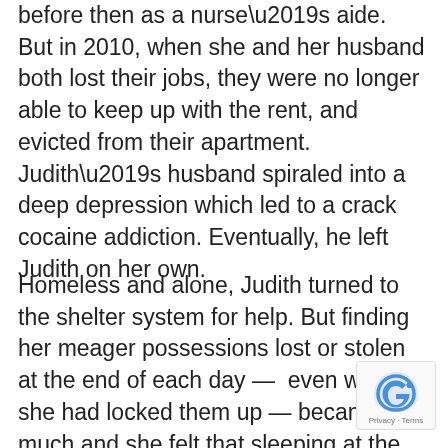before then as a nurse’s aide.  But in 2010, when she and her husband both lost their jobs, they were no longer able to keep up with the rent, and evicted from their apartment.  Judith’s husband spiraled into a deep depression which led to a crack cocaine addiction. Eventually, he left Judith on her own.
Homeless and alone, Judith turned to the shelter system for help. But finding her meager possessions lost or stolen at the end of each day —  even when she had locked them up — became too much and she felt that sleeping at the airport was safer. By using a rolling suitcase that makes her look like any other traveler,